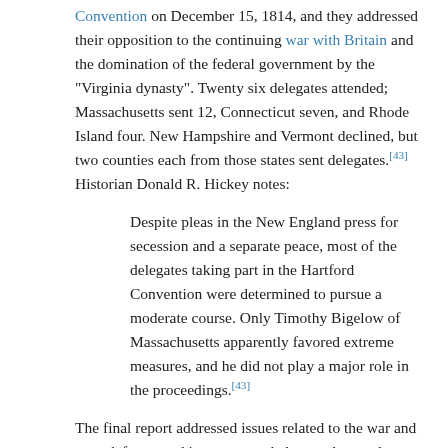Convention on December 15, 1814, and they addressed their opposition to the continuing war with Britain and the domination of the federal government by the "Virginia dynasty". Twenty six delegates attended; Massachusetts sent 12, Connecticut seven, and Rhode Island four. New Hampshire and Vermont declined, but two counties each from those states sent delegates.[43] Historian Donald R. Hickey notes:
Despite pleas in the New England press for secession and a separate peace, most of the delegates taking part in the Hartford Convention were determined to pursue a moderate course. Only Timothy Bigelow of Massachusetts apparently favored extreme measures, and he did not play a major role in the proceedings.[43]
The final report addressed issues related to the war and state defense, and it recommended several amendments to the Constitution.[44][45] Massachusetts and Connecticut